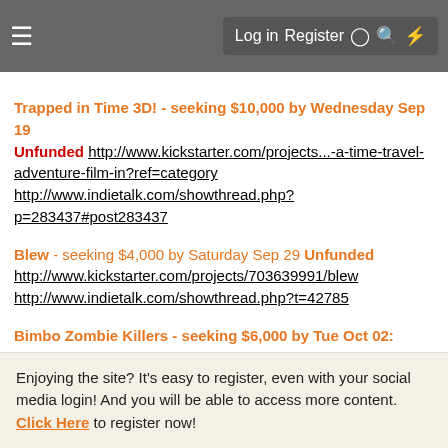≡  Log in  Register  ◑  🔍  ⚡
Trapped in Time 3D! - seeking $10,000 by Wednesday Sep 19 Unfunded http://www.kickstarter.com/projects...-a-time-travel-adventure-film-in?ref=category http://www.indietalk.com/showthread.php?p=283437#post283437
Blew - seeking $4,000 by Saturday Sep 29 Unfunded http://www.kickstarter.com/projects/703639991/blew http://www.indietalk.com/showthread.php?t=42785
Bimbo Zombie Killers - seeking $6,000 by Tue Oct 02: Unfunded http://www.indiegogo.com/BZK?c=home http://www.indietalk.com/showthread.php?t=40686
The Dark Master: Battle in the Courtyard - seeking $250 by
Enjoying the site? It's easy to register, even with your social media login! And you will be able to access more content. Click Here to register now!